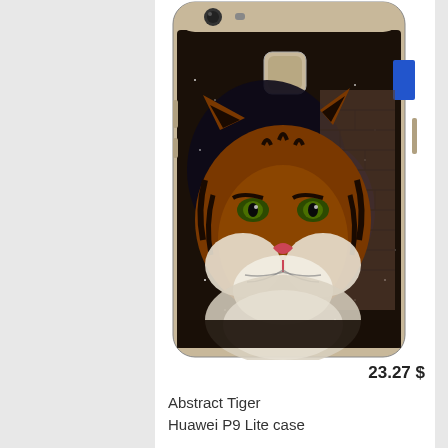[Figure (photo): A Huawei P9 Lite smartphone case featuring an abstract tiger design. The case shows a tiger's face close-up against a dark cosmic/starry and brick wall background. The phone has a gold top bar with camera and fingerprint sensor visible.]
23.27 $
Abstract Tiger
Huawei P9 Lite case